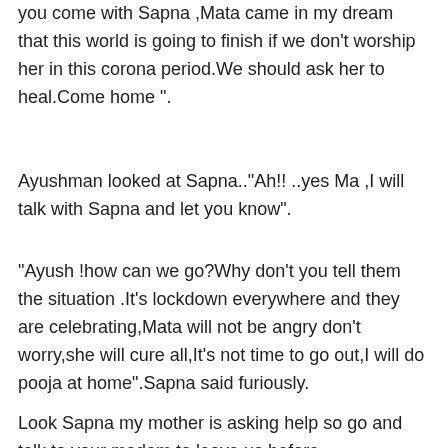you come with Sapna ,Mata came in my dream that this world is going to finish if we don't worship her in this corona period.We should ask her to heal.Come home ".
Ayushman looked at Sapna.."Ah!! ..yes Ma ,I will talk with Sapna and let you know".
"Ayush !how can we go?Why don't you tell them the situation .It's lockdown everywhere and they are celebrating,Mata will not be angry don't worry,she will cure all,It's not time to go out,I will do pooja at home".Sapna said furiously.
Look Sapna my mother is asking help so go and talk to your madam to leave us before